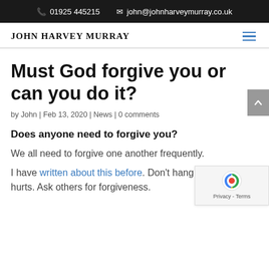📞 01925 445215  ✉ john@johnharveymurray.co.uk
JOHN HARVEY MURRAY
Must God forgive you or can you do it?
by John | Feb 13, 2020 | News | 0 comments
Does anyone need to forgive you?
We all need to forgive one another frequently.
I have written about this before. Don't hang on to past hurts. Ask others for forgiveness.